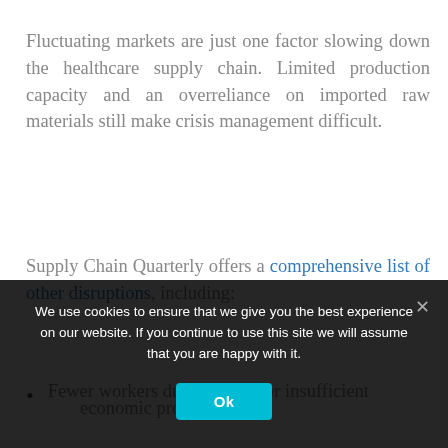Fluctuating markets are just one factor slowing down the healthcare supply chain. Limited production capacity and an overreliance on imported raw materials still make crisis management difficult.
Supply Chain Quarterly offers a comprehensive list of other disruptions, including:
Fewer workers due to illness or insufficient economic protection
We use cookies to ensure that we give you the best experience on our website. If you continue to use this site we will assume that you are happy with it.